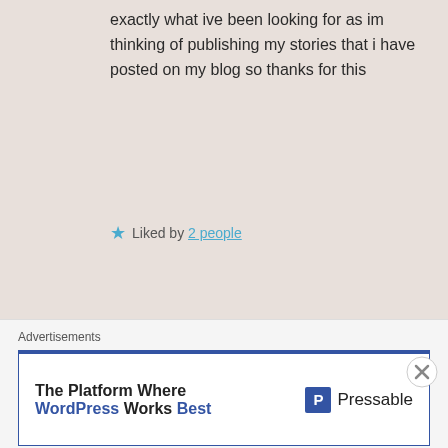exactly what ive been looking for as im thinking of publishing my stories that i have posted on my blog so thanks for this
★ Liked by 2 people
Reply
Darla G. Denton, Writer
September 26, 2016 at 6:35 pm
[Figure (photo): Avatar photo of Darla G. Denton, a woman smiling]
👍 0 👎 0 ℹ Rate This
Advertisements
The Platform Where WordPress Works Best — Pressable